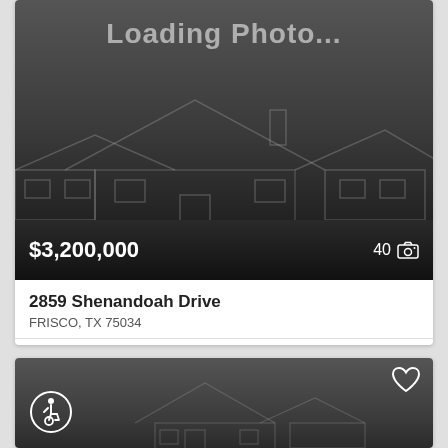[Figure (photo): Loading photo placeholder with house outline silhouette, dark background]
$3,200,000
40 [camera icon]
2859 Shenandoah Drive
FRISCO, TX 75034
Villages Of Stonebriar Park
4 Beds
4F 21/2 Baths
6,443 Sq.Ft.
MLS #: 20144288
[Figure (photo): Loading photo placeholder with house outline silhouette and dark background, with wheelchair accessibility icon and heart/favorite icon]